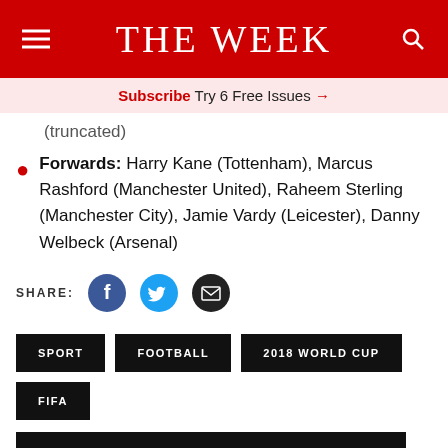THE WEEK
Subscribe Try 6 Free Issues →
(truncated)
Forwards: Harry Kane (Tottenham), Marcus Rashford (Manchester United), Raheem Sterling (Manchester City), Jamie Vardy (Leicester), Danny Welbeck (Arsenal)
SHARE:
SPORT   FOOTBALL   2018 WORLD CUP   FIFA